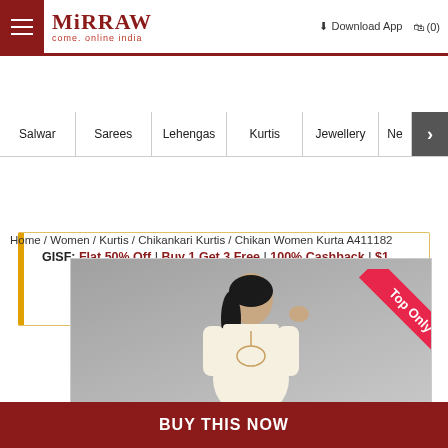Mirraw — Come, Online India | Download App | (0)
Salwar | Sarees | Lehengas | Kurtis | Jewellery | Ne >
GISF: Flat 50% Off | Buy 1 Get 3 Free | 100% Cashback | $1 Stitching & Free Shipping On 99 USD × Deal ends in :
Home / Women / Kurtis / Chikankari Kurtis / Chikan Women Kurta A411182
[Figure (photo): Model wearing a cream/off-white Chikan Women Kurta with Top Only ribbon badge in top right corner]
BUY THIS NOW